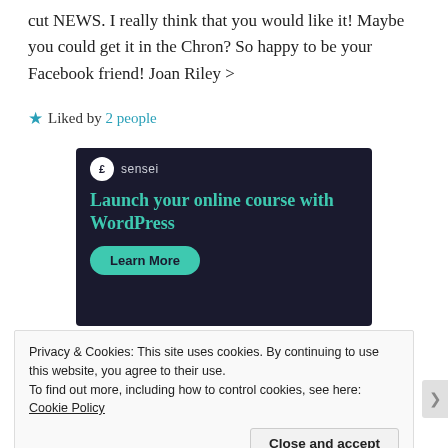cut NEWS. I really think that you would like it! Maybe you could get it in the Chron? So happy to be your Facebook friend! Joan Riley >
★ Liked by 2 people
[Figure (screenshot): Sensei advertisement banner on dark background with teal text 'Launch your online course with WordPress' and a 'Learn More' button]
Privacy & Cookies: This site uses cookies. By continuing to use this website, you agree to their use.
To find out more, including how to control cookies, see here: Cookie Policy
Close and accept